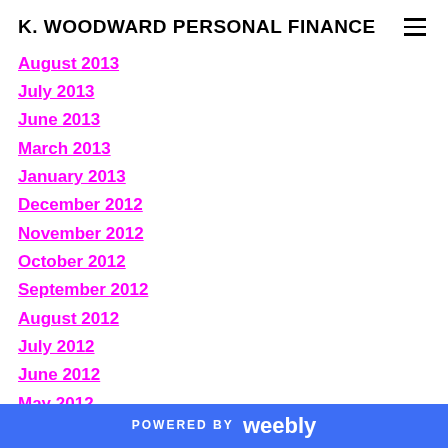K. WOODWARD PERSONAL FINANCE
August 2013
July 2013
June 2013
March 2013
January 2013
December 2012
November 2012
October 2012
September 2012
August 2012
July 2012
June 2012
May 2012
April 2012
March 2012
POWERED BY weebly